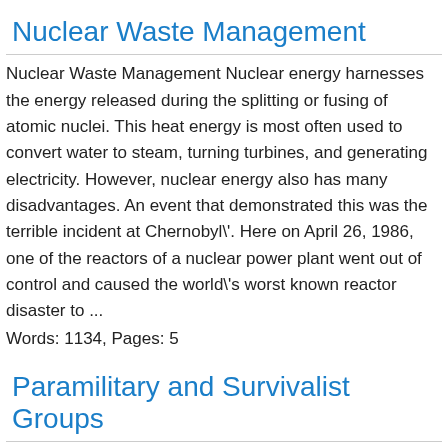Nuclear Waste Management
Nuclear Waste Management Nuclear energy harnesses the energy released during the splitting or fusing of atomic nuclei. This heat energy is most often used to convert water to steam, turning turbines, and generating electricity. However, nuclear energy also has many disadvantages. An event that demonstrated this was the terrible incident at Chernobyl\'. Here on April 26, 1986, one of the reactors of a nuclear power plant went out of control and caused the world\'s worst known reactor disaster to ...
Words: 1134, Pages: 5
Paramilitary and Survivalist Groups
Paramilitary and Survivalist Groups There are many different forms of militias and paramilitary groups, whose membership and ideology often vary from, place to place. However, what